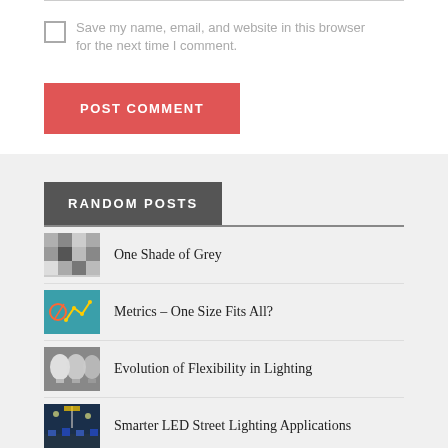Save my name, email, and website in this browser for the next time I comment.
POST COMMENT
RANDOM POSTS
One Shade of Grey
Metrics – One Size Fits All?
Evolution of Flexibility in Lighting
Smarter LED Street Lighting Applications
The March of Mid-Power LEDs into General